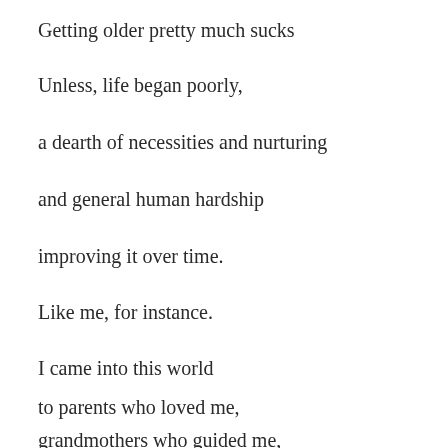Getting older pretty much sucks
Unless, life began poorly,
a dearth of necessities and nurturing
and general human hardship
improving it over time.
Like me, for instance.
I came into this world
to parents who loved me,
grandmothers who guided me,